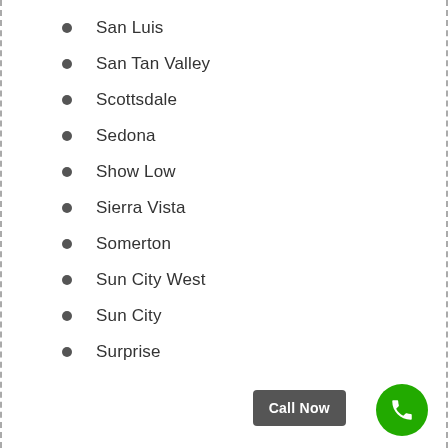San Luis
San Tan Valley
Scottsdale
Sedona
Show Low
Sierra Vista
Somerton
Sun City West
Sun City
Surprise